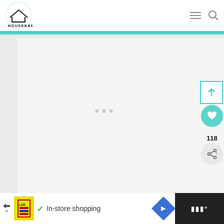[Figure (logo): Housekaboodle logo with house outline in teal circle and text HOUSEKABOODLE]
[Figure (screenshot): Website header navigation bar with hamburger menu and search icon]
[Figure (screenshot): Main content area with light gray background and loading indicator dots]
[Figure (screenshot): Scroll-to-top teal bordered button with upward arrow]
[Figure (screenshot): Heart/favorite button (teal circle) with count 118 below, and share button below that]
118
[Figure (screenshot): Advertisement bar at bottom: Lidl ad with In-store shopping text, navigation arrow diamond, and Wirr logo on dark background]